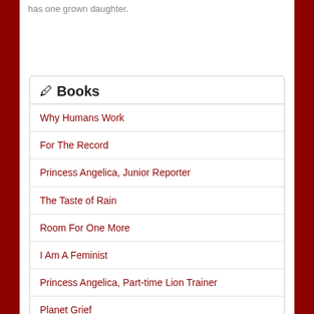has one grown daughter.
Books
Why Humans Work
For The Record
Princess Angelica, Junior Reporter
The Taste of Rain
Room For One More
I Am A Feminist
Princess Angelica, Part-time Lion Trainer
Planet Grief
Princess Angelica, Camp Catastrophe